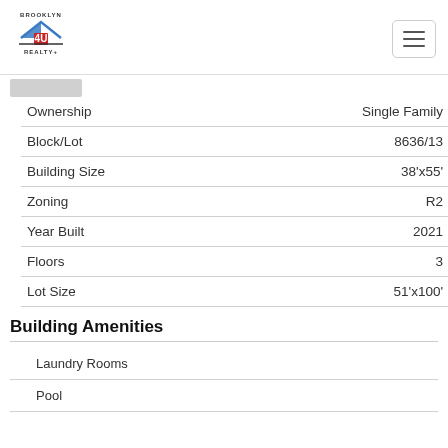[Figure (logo): Brooklyn 4U Realty logo with house icon]
| Property | Value |
| --- | --- |
| Ownership | Single Family |
| Block/Lot | 8636/13 |
| Building Size | 38'x55' |
| Zoning | R2 |
| Year Built | 2021 |
| Floors | 3 |
| Lot Size | 51'x100' |
Building Amenities
Laundry Rooms
Pool